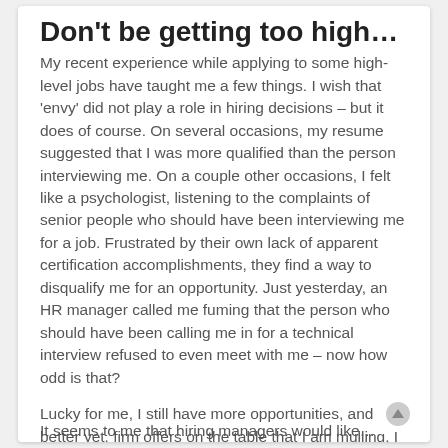Don't be getting too high…
My recent experience while applying to some high-level jobs have taught me a few things. I wish that 'envy' did not play a role in hiring decisions – but it does of course. On several occasions, my resume suggested that I was more qualified than the person interviewing me. On a couple other occasions, I felt like a psychologist, listening to the complaints of senior people who should have been interviewing me for a job. Frustrated by their own lack of apparent certification accomplishments, they find a way to disqualify me for an opportunity. Just yesterday, an HR manager called me fuming that the person who should have been calling me in for a technical interview refused to even meet with me – now how odd is that?
Lucky for me, I still have more opportunities, and better yet, firm offers on the table that I am mulling. I have better luck as a contractor, but it would have been nice to have something more certain and close to home.